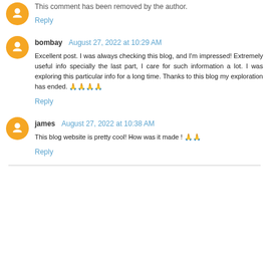This comment has been removed by the author.
Reply
bombay  August 27, 2022 at 10:29 AM
Excellent post. I was always checking this blog, and I'm impressed! Extremely useful info specially the last part, I care for such information a lot. I was exploring this particular info for a long time. Thanks to this blog my exploration has ended. 🙏🙏🙏🙏
Reply
james  August 27, 2022 at 10:38 AM
This blog website is pretty cool! How was it made ! 🙏🙏
Reply